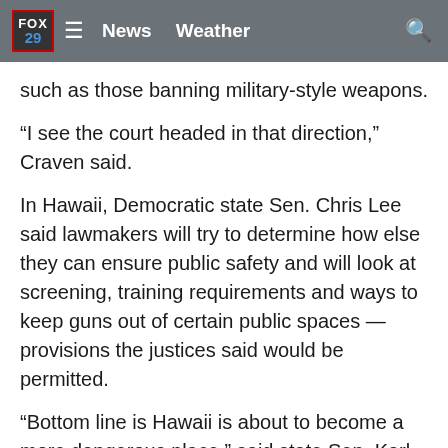FOX 29 | News  Weather
such as those banning military-style weapons.
“I see the court headed in that direction,” Craven said.
In Hawaii, Democratic state Sen. Chris Lee said lawmakers will try to determine how else they can ensure public safety and will look at screening, training requirements and ways to keep guns out of certain public spaces — provisions the justices said would be permitted.
“Bottom line is Hawaii is about to become a more dangerous place,” said state Sen. Karl Rhoads, a Democrat. “Hawaii will go from a place where the right to carry in public is the exception to a place where not having the right to carry on the street is an exception. I see no restriction on the type of firearm.”
Gun rights groups in Hawaii and elsewhere applauded the